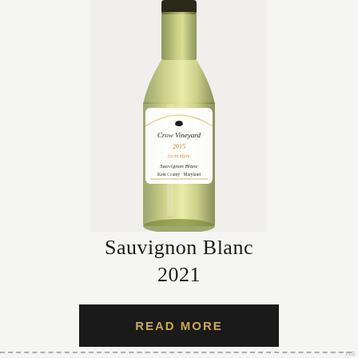[Figure (photo): Wine bottle of Crow Vineyard Sauvignon Blanc 2015, Kent County Maryland, shown against a light gray textured background]
Sauvignon Blanc
2021
READ MORE